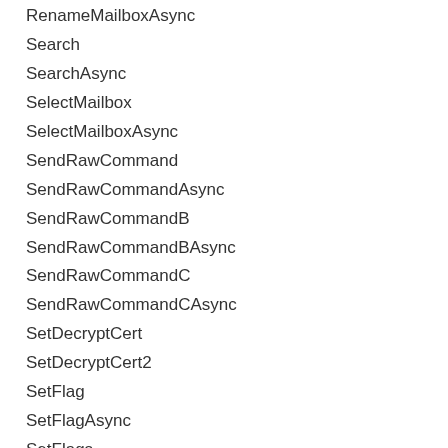RenameMailboxAsync
Search
SearchAsync
SelectMailbox
SelectMailboxAsync
SendRawCommand
SendRawCommandAsync
SendRawCommandB
SendRawCommandBAsync
SendRawCommandC
SendRawCommandCAsync
SetDecryptCert
SetDecryptCert2
SetFlag
SetFlagAsync
SetFlags
SetFlagsAsync
SetMailFlag
SetMailFlagAsync